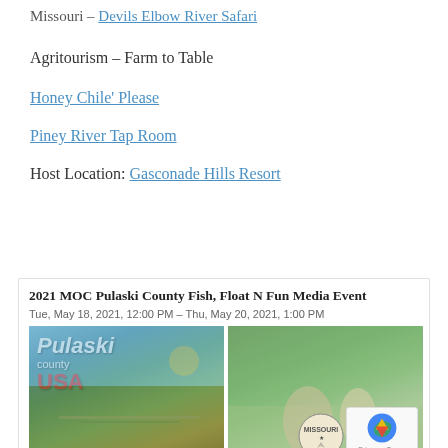Missouri – Devils Elbow River Safari
Agritourism – Farm to Table
Honey Chile' Please
Piney River Tap Room
Host Location: Gasconade Hills Resort
2021 MOC Pulaski County Fish, Float N Fun Media Event
Tue, May 18, 2021, 12:00 PM – Thu, May 20, 2021, 1:00 PM
[Figure (photo): Two photos side by side: left shows Pulaski County USA logo with scenic river overlook; right shows two people wading in a misty river with a Missouri logo badge in lower right corner.]